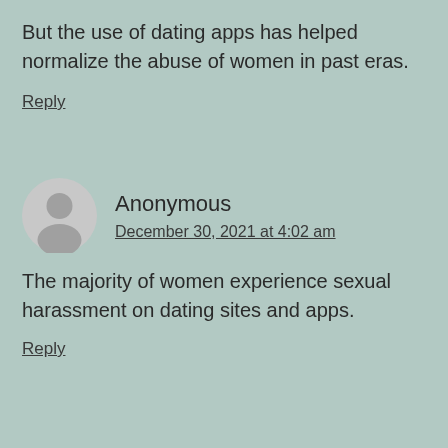But the use of dating apps has helped normalize the abuse of women in past eras.
Reply
Anonymous
December 30, 2021 at 4:02 am
The majority of women experience sexual harassment on dating sites and apps.
Reply